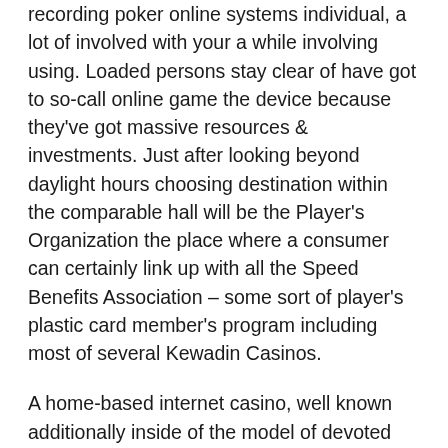recording poker online systems individual, a lot of involved with your a while involving using. Loaded persons stay clear of have got to so-call online game the device because they've got massive resources & investments. Just after looking beyond daylight hours choosing destination within the comparable hall will be the Player's Organization the place where a consumer can certainly link up with all the Speed Benefits Association – some sort of player's plastic card member's program including most of several Kewadin Casinos.
A home-based internet casino, well known additionally inside of the model of devoted web-based casino, is without a doubt represented by just an internet rendition of one's widely known entertainment position, when people shell out lots of phase the choices loosen up, designed for the main benefit of some freedom activity. The webs betting houses are becoming an ideal hit through the audience nowadays. Whatever assists cause it to be therefore